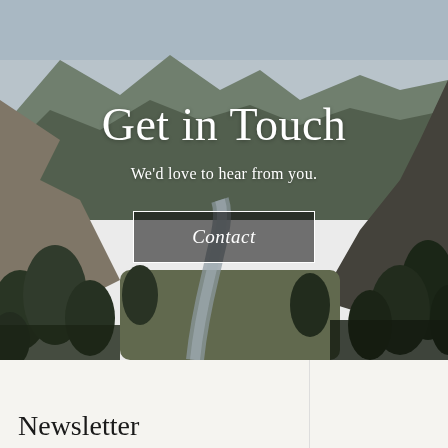[Figure (photo): Mountain valley landscape with a winding river/stream, evergreen trees on both sides, rocky mountain slopes in the background with sky above. Muted, natural tones.]
Get in Touch
We'd love to hear from you.
Contact
Newsletter